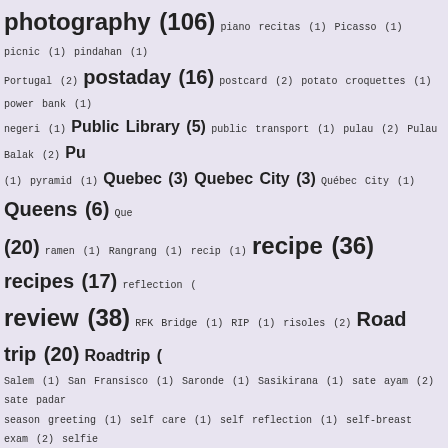photography (106) piano recitas (1) Picasso (1) picnic (1) pindahan (1) Portugal (2) postaday (16) postcard (2) potato croquettes (1) power bank (1) negeri (1) Public Library (5) public transport (1) pulau (2) Pulau Balak (2) Pu... (1) pyramid (1) Quebec (3) Quebec City (3) Québec City (1) Queens (6) Que... (20) ramen (1) Rangrang (1) recip (1) recipe (36) recipes (17) reflection (...) review (38) RFK Bridge (1) RIP (1) risoles (2) Road trip (20) Roadtrip (...) Salem (1) San Fransisco (1) Saronde (1) Sasikirana (1) sate ayam (2) sate padan... season greeting (1) self care (1) self reflection (1) self-breast exam (2) selfie... Shadow puppet (1) Sheep Meadow (1) shoes (1) shopback (1) shopping (5) s... Sleepy Hollow (3) Smartfren (1) snapchat (1) snapshot (1) snokeling (1) sno... (2) sop buntut (1) soup (1) South Beach (2) South Carolina (5) South Sulawe... spring break 2016 (13) spring break 2017 (11) spring concert (1) Sp... Capitol Building (1) Staten Island (1) Steller (1) Steller Indonesia (1) Strasbo... Summer 2015 (4) summer 2016 (10) summer 2017 (12) summer... survivor (2) sweet tooth (1) Swiss (5) Switzerland (27) t-shirt (1) tahu isi (...) Town (4) tea cups (1) Tegal Island (7) Tegal Mas Island (4) Tegalalang (1)... goreng tepung (1) tempoyak (1) tenun (3) TFP (8) Thai food (1) Thanksgiving... Metropolitan Opera (1) The Morgan Library and Museum (2) the Oculus (1) ther... Tokyo DisneySea (2) Tony Bennett (1) Top of the Rock (1) Topkapi Palace (3) traveling in Asia (24) traveling in Europe (15) traveling in Latin... with kids (13) trombone (2) Tromso (5) Turino (1) Turkey (16) Turnam... (1) Ueno (5) UK (3) Uluwatu (1) UN (27) UN 70th Anniversary (1) UN Bazaar... stamps (2) underwater photography (10) UNESCO Heritage (2) LING...